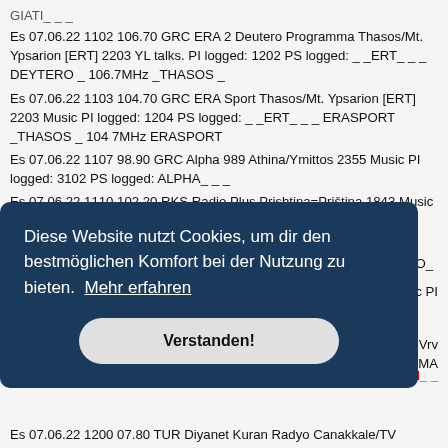GIATI_ _ _
Es 07.06.22 1102 106.70 GRC ERA 2 Deutero Programma Thasos/Mt. Ypsarion [ERT] 2203 YL talks. PI logged: 1202 PS logged: _ _ERT_ _ _ DEYTERO _ 106.7MHz _THASOS _
Es 07.06.22 1103 104.70 GRC ERA Sport Thasos/Mt. Ypsarion [ERT] 2203 Music PI logged: 1204 PS logged: _ _ERT_ _ _ ERASPORT _THASOS _ 104 7MHz ERASPORT
Es 07.06.22 1107 98.90 GRC Alpha 989 Athina/Ymittos 2355 Music PI logged: 3102 PS logged: ALPHA_ _ _
Es 07.06.22 1110 102.20 RKS Radio Plus Prishtina=Priština 1843 Music PI logged: 3712 PS logged: Plus_ _ _ _ Radio_ _ _
Es 07.06.22 1114 92.80 GRC ERA 1 Proto Programma Volos/Mt. Pilion/OTE Tower 2196 OM talks. PI logged: 1201 PS logged: _PROTO_ _ 92.8MHZ_ _PILIO_ _
c PI
h Vrv AMA
-FM_ _
Es 07.06.22 1200 07.80 TUR Diyanet Kuran Radyo Canakkale/TV Tower 2306 OM talks. PI logged: 2202 PS logged: DİYANET
[Figure (screenshot): Cookie consent overlay dialog with dark blue background. Text reads: 'Diese Website nutzt Cookies, um dir den bestmöglichen Komfort bei der Nutzung zu bieten. Mehr erfahren'. Button labeled 'Verstanden!']